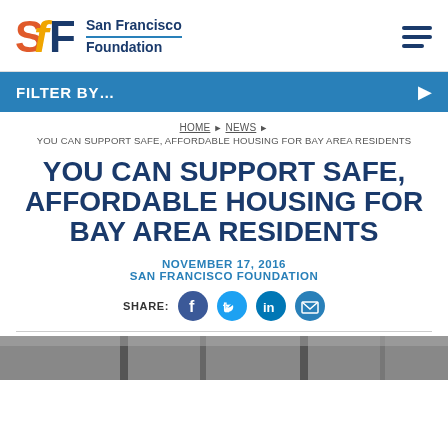San Francisco Foundation
FILTER BY...
HOME ▶ NEWS ▶ YOU CAN SUPPORT SAFE, AFFORDABLE HOUSING FOR BAY AREA RESIDENTS
YOU CAN SUPPORT SAFE, AFFORDABLE HOUSING FOR BAY AREA RESIDENTS
NOVEMBER 17, 2016
SAN FRANCISCO FOUNDATION
SHARE: [Facebook] [Twitter] [LinkedIn] [Email]
[Figure (photo): Bottom portion of a building/housing photograph, partially visible]